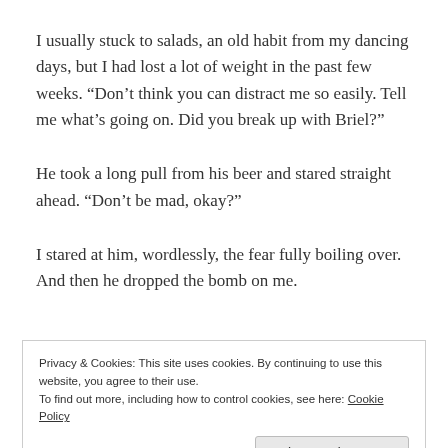I usually stuck to salads, an old habit from my dancing days, but I had lost a lot of weight in the past few weeks. “Don’t think you can distract me so easily. Tell me what’s going on. Did you break up with Briel?”
He took a long pull from his beer and stared straight ahead. “Don’t be mad, okay?”
I stared at him, wordlessly, the fear fully boiling over. And then he dropped the bomb on me.
Privacy & Cookies: This site uses cookies. By continuing to use this website, you agree to their use.
To find out more, including how to control cookies, see here: Cookie Policy
bartender for another, then poured it down my throat in